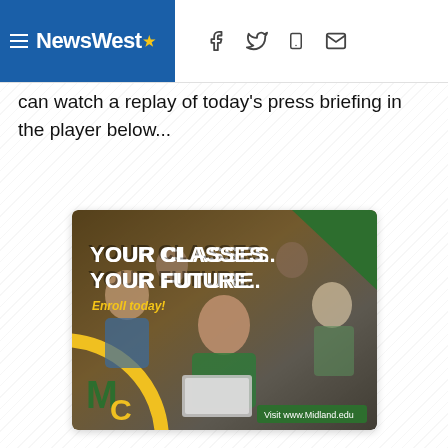NewsWest9
can watch a replay of today's press briefing in the player below...
[Figure (photo): Midland College advertisement showing students in a classroom with the text 'YOUR CLASSES. YOUR FUTURE. Enroll today!' and the MC logo, with a button reading 'Visit www.Midland.edu']